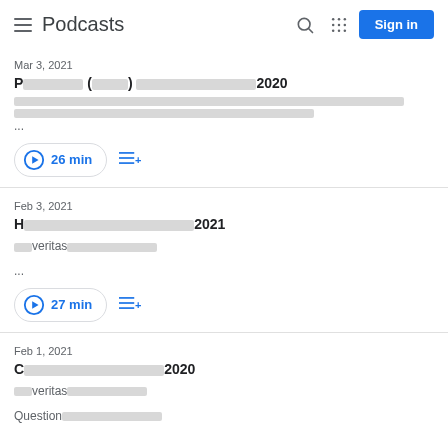Podcasts
Mar 3, 2021
P[redacted](redacted)[redacted]2020
[redacted long description]...
26 min
Feb 3, 2021
H[redacted]2021
[redacted]veritas[redacted]
...
27 min
Feb 1, 2021
C[redacted]2020
[redacted]veritas[redacted]
Question[redacted]